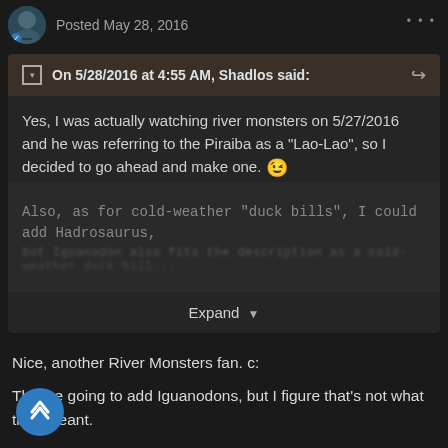Posted May 28, 2016
On 5/28/2016 at 4:55 AM, Shadlos said:
Yes, I was actually watching river monsters on 5/27/2016 and he was referring to the Piraiba as a "Lao-Lao", so I decided to go ahead and make one. 😉
Also, as for cold-weather "duck bills", I could add Hadrosaurus,
Expand
Nice, another River Monsters fan. c:
They're going to add Iguanodons, but I figure that's not what they meant.